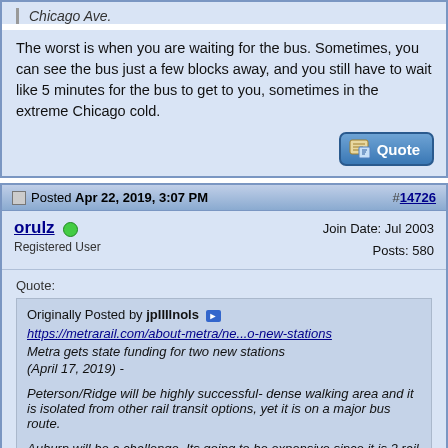Chicago Ave.
The worst is when you are waiting for the bus. Sometimes, you can see the bus just a few blocks away, and you still have to wait like 5 minutes for the bus to get to you, sometimes in the extreme Chicago cold.
Posted Apr 22, 2019, 3:07 PM  #14726
orulz
Registered User
Join Date: Jul 2003
Posts: 580
Quote:
Originally Posted by jpIIIlnols
https://metrarail.com/about-metra/ne...o-new-stations
Metra gets state funding for two new stations
(April 17, 2019) -

Peterson/Ridge will be highly successful- dense walking area and it is isolated from other rail transit options, yet it is on a major bus route.

Auburn will be a challenge. Its going to be expensive since it is 2 rail levels up from street.